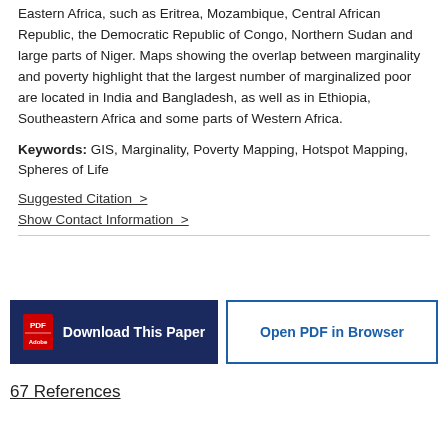Eastern Africa, such as Eritrea, Mozambique, Central African Republic, the Democratic Republic of Congo, Northern Sudan and large parts of Niger. Maps showing the overlap between marginality and poverty highlight that the largest number of marginalized poor are located in India and Bangladesh, as well as in Ethiopia, Southeastern Africa and some parts of Western Africa.
Keywords: GIS, Marginality, Poverty Mapping, Hotspot Mapping, Spheres of Life
Suggested Citation >
Show Contact Information >
[Figure (other): Two buttons: 'Download This Paper' (dark navy background, white text, PDF icon) and 'Open PDF in Browser' (white background, blue border, blue text)]
67 References